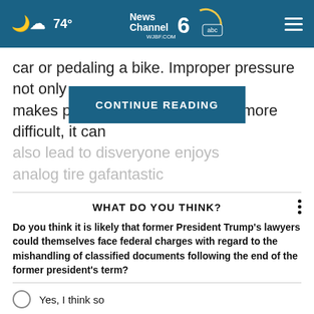74° News Channel 6 WJBF.COM abc
car or pedaling a bike. Improper pressure not only makes piloting a wheeled vehicle more difficult, it can also lead to dis...everyone enjoys analog tire ga...fantastic
CONTINUE READING
WHAT DO YOU THINK?
Do you think it is likely that former President Trump's lawyers could themselves face federal charges with regard to the mishandling of classified documents following the end of the former president's term?
Yes, I think so
Maybe, I'm not sure
No, I don't think so